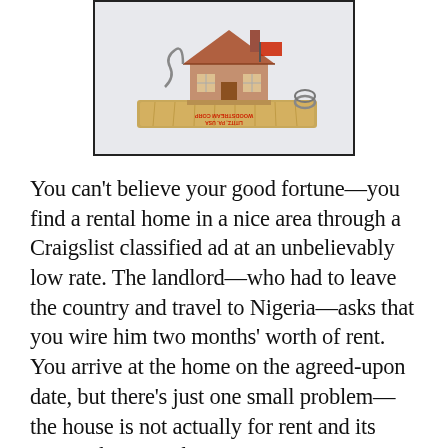[Figure (photo): A miniature model house placed on a wooden mousetrap, suggesting a rental scam trap metaphor. The mousetrap has red lettering visible on it.]
You can't believe your good fortune—you find a rental home in a nice area through a Craigslist classified ad at an unbelievably low rate. The landlord—who had to leave the country and travel to Nigeria—asks that you wire him two months' worth of rent. You arrive at the home on the agreed-upon date, but there's just one small problem—the house is not actually for rent and its owners know nothing